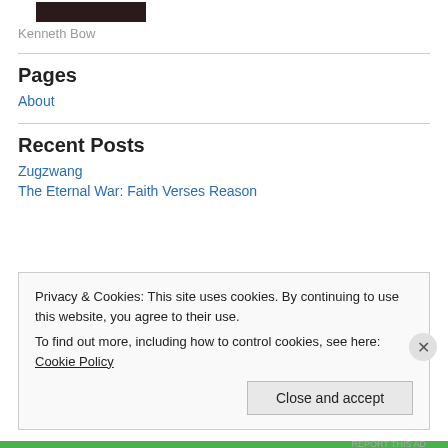[Figure (photo): Dark colored photo strip at top left]
Kenneth Bow
Pages
About
Recent Posts
Zugzwang
The Eternal War: Faith Verses Reason
Privacy & Cookies: This site uses cookies. By continuing to use this website, you agree to their use.
To find out more, including how to control cookies, see here: Cookie Policy
Close and accept